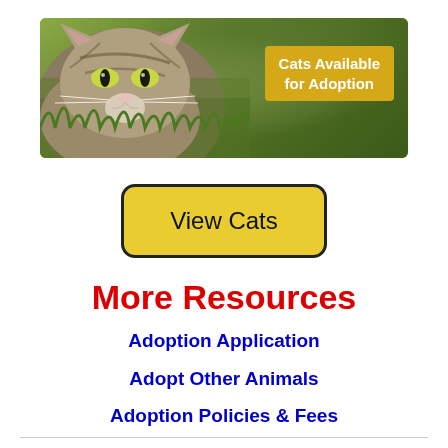[Figure (photo): Banner image of a close-up tabby cat face with green eyes among green grass/foliage, with a yellow overlay label reading 'Cats Available for Adoption' in white bold text on the right side]
View Cats
More Resources
Adoption Application
Adopt Other Animals
Adoption Policies & Fees